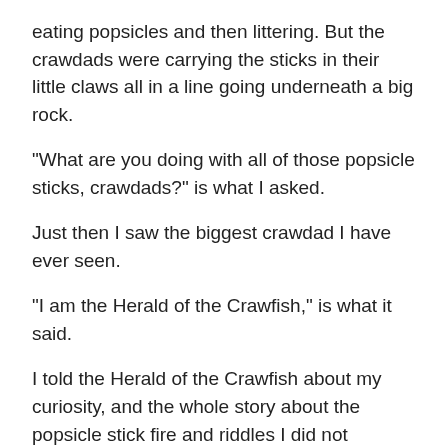eating popsicles and then littering. But the crawdads were carrying the sticks in their little claws all in a line going underneath a big rock.
"What are you doing with all of those popsicle sticks, crawdads?" is what I asked.
Just then I saw the biggest crawdad I have ever seen.
"I am the Herald of the Crawfish," is what it said.
I told the Herald of the Crawfish about my curiosity, and the whole story about the popsicle stick fire and riddles I did not understand and the goats and why did the crawdads want the sticks so much too were they making a popsicle fire underwater.